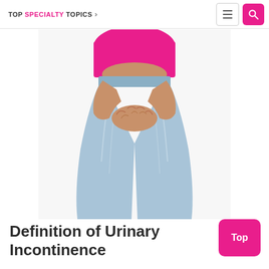TOP SPECIALTY TOPICS
[Figure (photo): Woman in pink top and blue jeans holding her pelvic area with both hands, illustrating urinary incontinence]
Definition of Urinary Incontinence